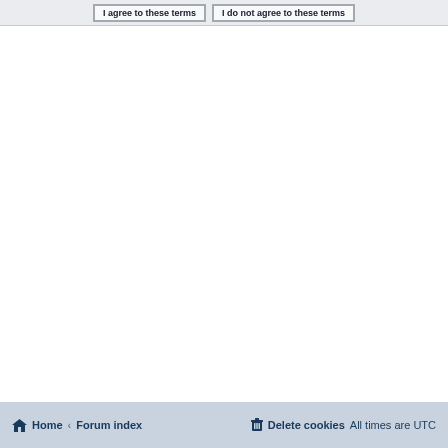[Figure (screenshot): Two buttons at the top: 'I agree to these terms' and 'I do not agree to these terms']
Home · Forum index    Delete cookies   All times are UTC